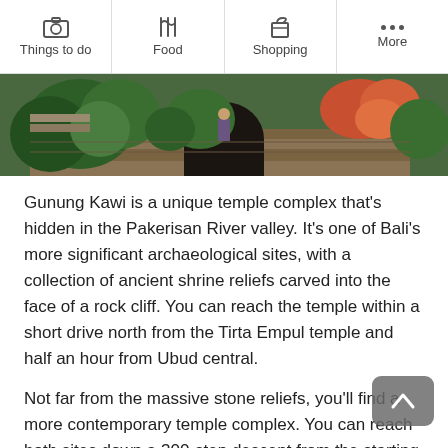Things to do | Food | Shopping | More
[Figure (photo): Gunung Kawi temple complex showing stone shrines carved into rock face, surrounded by tropical vegetation and flowers]
Gunung Kawi is a unique temple complex that's hidden in the Pakerisan River valley. It's one of Bali's more significant archaeological sites, with a collection of ancient shrine reliefs carved into the face of a rock cliff. You can reach the temple within a short drive north from the Tirta Empul temple and half an hour from Ubud central.
Not far from the massive stone reliefs, you'll find a more contemporary temple complex. You can reach both sites down a 300-step descent from the starting point that's lined with art shops and rice fields. Local legend goes that these stone shrines are memorials